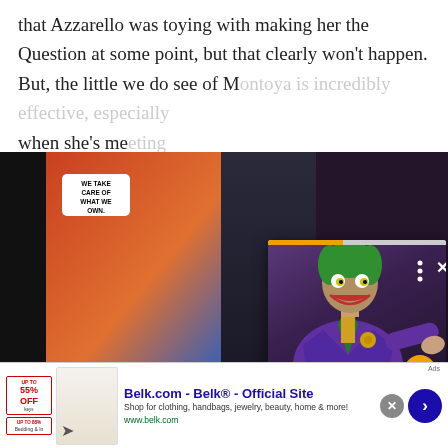that Azzarello was toying with making her the Question at some point, but that clearly won't happen. But, the little we do see of Montoya is incredibly effective, especially when she's meeting... Montoya's pre-R... talking about.
[Figure (screenshot): Popup advertisement overlay showing a Sideshow Joker statue figurine in purple suit with caption 'Sideshow designedJokerStatue up for preorder'. Has navigation arrows and close button.]
[Figure (photo): Comic book panels showing artwork in black and orange tones. Left panel has a speech bubble reading 'WE TAKE CARE OF WHAT WE OWN'. Right panel has text 'FROM WHAT WE'VE HEARD, THE'.]
[Figure (screenshot): Advertisement banner for Belk.com - Belk Official Site. Shows 'Shop for clothing, handbags, jewelry, beauty, home & more!' and URL www.belk.com. Has sale badges on left side and navigation button.]